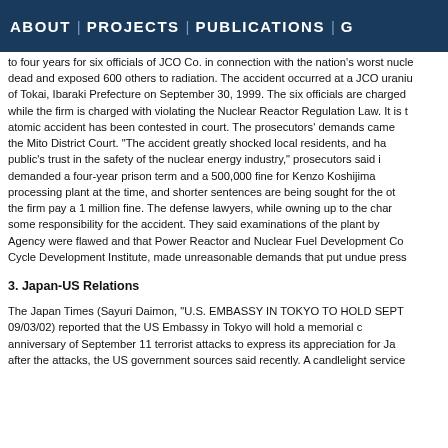ABOUT | PROJECTS | PUBLICATIONS | G
to four years for six officials of JCO Co. in connection with the nation's worst nuclear accident that left two dead and exposed 600 others to radiation. The accident occurred at a JCO uranium processing plant in the town of Tokai, Ibaraki Prefecture on September 30, 1999. The six officials are charged with professional negligence, while the firm is charged with violating the Nuclear Reactor Regulation Law. It is the first time a case involving an atomic accident has been contested in court. The prosecutors' demands came during a closing argument session at the Mito District Court. "The accident greatly shocked local residents, and had a negative impact on the public's trust in the safety of the nuclear energy industry," prosecutors said in their statement. They demanded a four-year prison term and a 500,000 fine for Kenzo Koshijima, the head of the uranium processing plant at the time, and shorter sentences are being sought for the other five. Prosecutors also asked the firm pay a 1 million fine. The defense lawyers, while owning up to the charges, asked the court to share some responsibility for the accident. They said examinations of the plant by the Science and Technology Agency were flawed and that Power Reactor and Nuclear Fuel Development Co., now known as the Nuclear Cycle Development Institute, made unreasonable demands that put undue press
3. Japan-US Relations
The Japan Times (Sayuri Daimon, "U.S. EMBASSY IN TOKYO TO HOLD SEPT. 11 MEMORIAL," 09/03/02) reported that the US Embassy in Tokyo will hold a memorial ceremony for the first anniversary of September 11 terrorist attacks to express its appreciation for Japan's support right after the attacks, the US government sources said recently. A candlelight service